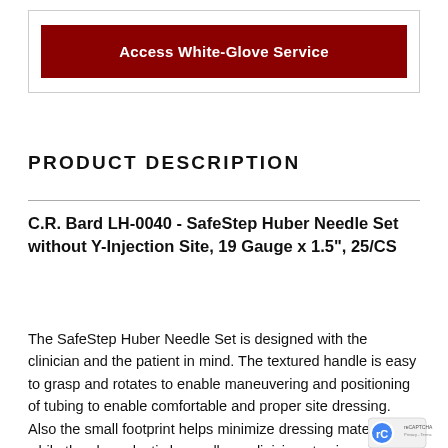[Figure (other): Dark red button labeled 'Access White-Glove Service' inside a bordered box]
PRODUCT DESCRIPTION
C.R. Bard LH-0040 - SafeStep Huber Needle Set without Y-Injection Site, 19 Gauge x 1.5", 25/CS
The SafeStep Huber Needle Set is designed with the clinician and the patient in mind. The textured handle is easy to grasp and rotates to enable maneuvering and positioning of tubing to enable comfortable and proper site dressing. Also the small footprint helps minimize dressing materials while the clear plastic base allows clinicians to view and inspect the insertion site.